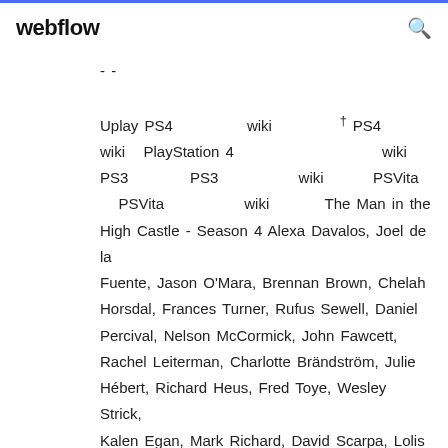webflow
Uplay PS4   wiki   † PS4   wiki  PlayStation 4   wiki   PS3   PS3   wiki   PSVita   PSVita   wiki   The Man in the High Castle - Season 4 Alexa Davalos, Joel de la Fuente, Jason O'Mara, Brennan Brown, Chelah Horsdal, Frances Turner, Rufus Sewell, Daniel Percival, Nelson McCormick, John Fawcett, Rachel Leiterman, Charlotte Brändström, Julie Hébert, Richard Heus, Fred Toye, Wesley Strick, Kalen Egan, Mark Richard, David Scarpa, Lolis Eric Elie, Jihan Crowther, Erin Smith, Jordan Sheehan We host 265,539 files for 1,019 games from 109,385 authors serving 21,875,986